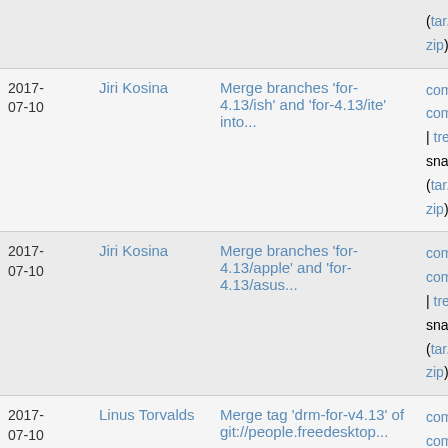| Date | Author | Message | Links |
| --- | --- | --- | --- |
|  |  | (tar.gz zip) |  |
| 2017-07-10 | Jiri Kosina | Merge branches 'for-4.13/ish' and 'for-4.13/ite' into... | commit | commitdiff | tree | snapshot (tar.gz zip) |
| 2017-07-10 | Jiri Kosina | Merge branches 'for-4.13/apple' and 'for-4.13/asus... | commit | commitdiff | tree | snapshot (tar.gz zip) |
| 2017-07-10 | Linus Torvalds | Merge tag 'drm-for-v4.13' of git://people.freedesktop... | commit | commitdiff | tree | snapshot (tar.gz zip) |
| 2017-07-09 | David Howells | afs: Add metadata xattrs | commit | commitdiff | tree | |